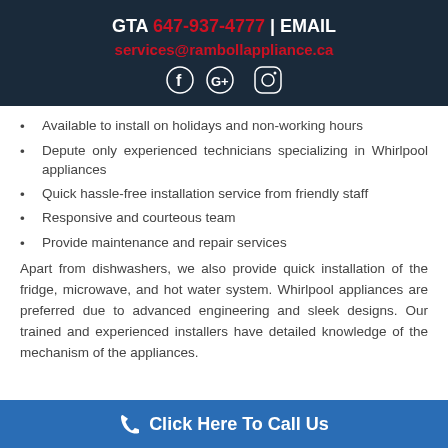GTA 647-937-4777 | EMAIL services@rambollappliance.ca
Available to install on holidays and non-working hours
Depute only experienced technicians specializing in Whirlpool appliances
Quick hassle-free installation service from friendly staff
Responsive and courteous team
Provide maintenance and repair services
Apart from dishwashers, we also provide quick installation of the fridge, microwave, and hot water system. Whirlpool appliances are preferred due to advanced engineering and sleek designs. Our trained and experienced installers have detailed knowledge of the mechanism of the appliances.
Click Here To Call Us